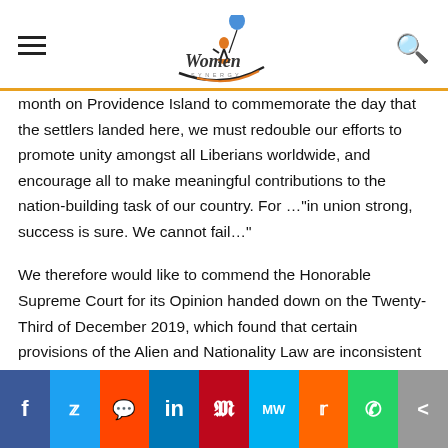Women [logo]
month on Providence Island to commemorate the day that the settlers landed here, we must redouble our efforts to promote unity amongst all Liberians worldwide, and encourage all to make meaningful contributions to the nation-building task of our country. For …"in union strong, success is sure. We cannot fail…"
We therefore would like to commend the Honorable Supreme Court for its Opinion handed down on the Twenty-Third of December 2019, which found that certain provisions of the Alien and Nationality Law are inconsistent with the Constitution of Liberia.
For instance, the current Alien and Nationality Law provides
f | Twitter | Reddit | in | Pinterest | MW | Mix | WhatsApp | Share